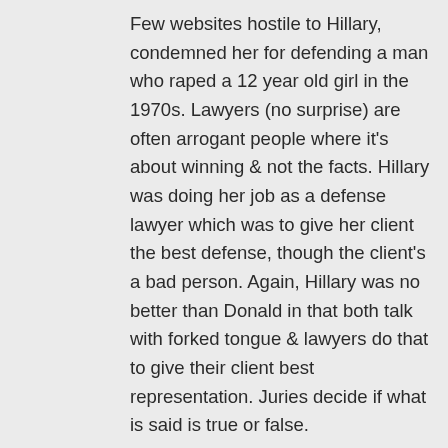Few websites hostile to Hillary, condemned her for defending a man who raped a 12 year old girl in the 1970s. Lawyers (no surprise) are often arrogant people where it's about winning & not the facts. Hillary was doing her job as a defense lawyer which was to give her client the best defense, though the client's a bad person. Again, Hillary was no better than Donald in that both talk with forked tongue & lawyers do that to give their client best representation. Juries decide if what is said is true or false.